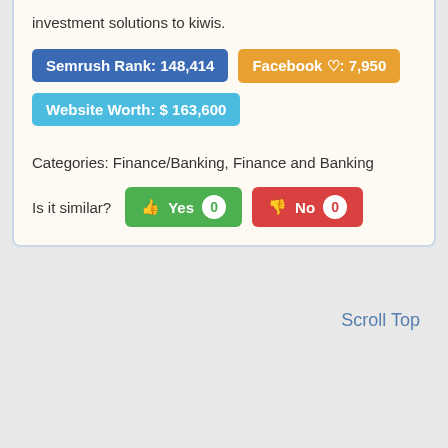investment solutions to kiwis.
Semrush Rank: 148,414
Facebook ♡: 7,950
Website Worth: $ 163,600
Categories: Finance/Banking, Finance and Banking
Is it similar? Yes 0  No 0
Scroll Top